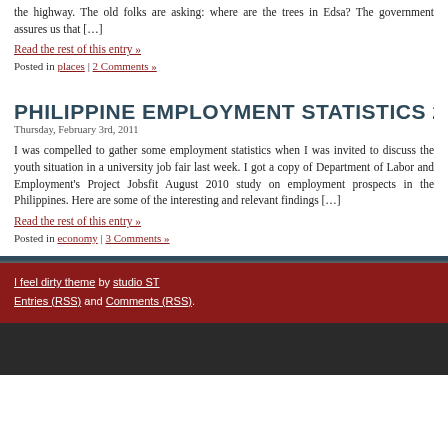the highway. The old folks are asking: where are the trees in Edsa? The government assures us that […]
Read the rest of this entry »
Posted in places | 2 Comments »
PHILIPPINE EMPLOYMENT STATISTICS 20…
Thursday, February 3rd, 2011
I was compelled to gather some employment statistics when I was invited to discuss the youth situation in a university job fair last week. I got a copy of Department of Labor and Employment's Project Jobsfit August 2010 study on employment prospects in the Philippines. Here are some of the interesting and relevant findings […]
Read the rest of this entry »
Posted in economy | 3 Comments »
I feel dirty theme by studio ST Entries (RSS) and Comments (RSS).